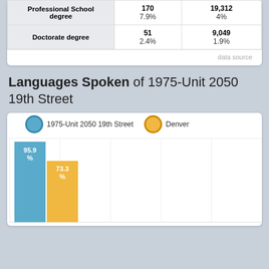|  | 1975-Unit 2050 19th Street | Denver |
| --- | --- | --- |
| Professional School degree | 170
7.9% | 19,312
4% |
| Doctorate degree | 51
2.4% | 9,049
1.9% |
data source
Languages Spoken of 1975-Unit 2050 19th Street
[Figure (grouped-bar-chart): Languages Spoken of 1975-Unit 2050 19th Street]